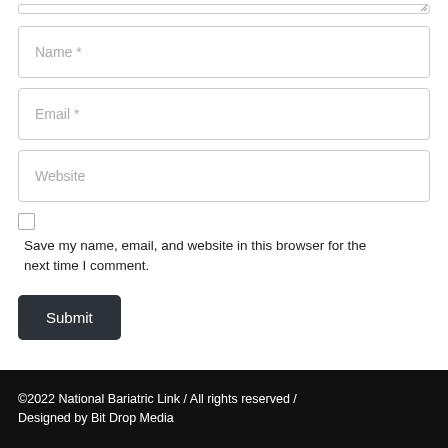[Figure (screenshot): Partial textarea input field at top of page with resize handle visible]
Name *
Email *
Website
Save my name, email, and website in this browser for the next time I comment.
Submit
©2022 National Bariatric Link / All rights reserved / Designed by Bit Drop Media